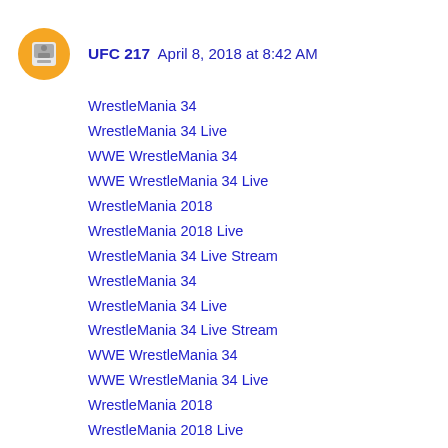UFC 217  April 8, 2018 at 8:42 AM
WrestleMania 34
WrestleMania 34 Live
WWE WrestleMania 34
WWE WrestleMania 34 Live
WrestleMania 2018
WrestleMania 2018 Live
WrestleMania 34 Live Stream
WrestleMania 34
WrestleMania 34 Live
WrestleMania 34 Live Stream
WWE WrestleMania 34
WWE WrestleMania 34 Live
WrestleMania 2018
WrestleMania 2018 Live
Reply